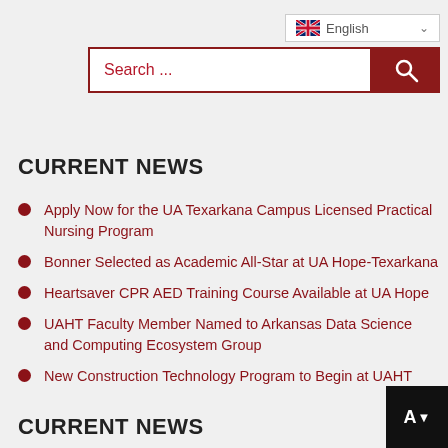[Figure (screenshot): Search bar with red border and placeholder text 'Search ...' with a dark red search button, and English language selector above]
CURRENT NEWS
Apply Now for the UA Texarkana Campus Licensed Practical Nursing Program
Bonner Selected as Academic All-Star at UA Hope-Texarkana
Heartsaver CPR AED Training Course Available at UA Hope
UAHT Faculty Member Named to Arkansas Data Science and Computing Ecosystem Group
New Construction Technology Program to Begin at UAHT
CURRENT NEWS